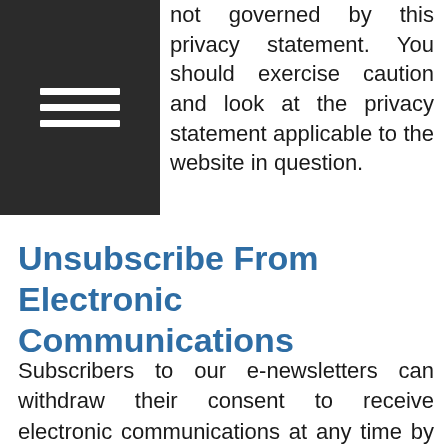[Figure (other): Dark navigation hamburger menu icon — three white horizontal bars on a dark/black background square]
not governed by this privacy statement. You should exercise caution and look at the privacy statement applicable to the website in question.
Unsubscribe From Electronic Communications
Subscribers to our e-newsletters can withdraw their consent to receive electronic communications at any time by clicking the unsubscribe link at the bottom of the email, or by notifying FLSOffice@iaprivatewealth.ca
What about spam? You will not receive marketing e-mail from Financial Life Strategies unless you have consented to